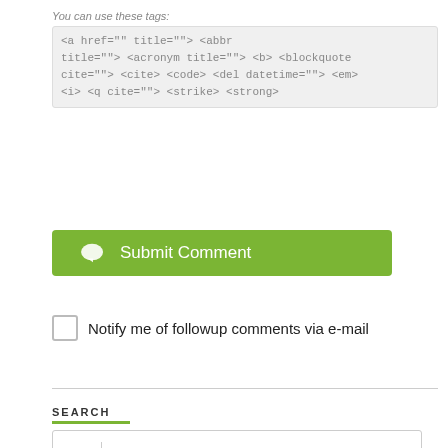You can use these tags: <a href="" title=""> <abbr title=""> <acronym title=""> <b> <blockquote cite=""> <cite> <code> <del datetime=""> <em> <i> <q cite=""> <strike> <strong>
Submit Comment
Notify me of followup comments via e-mail
SEARCH
Search here...